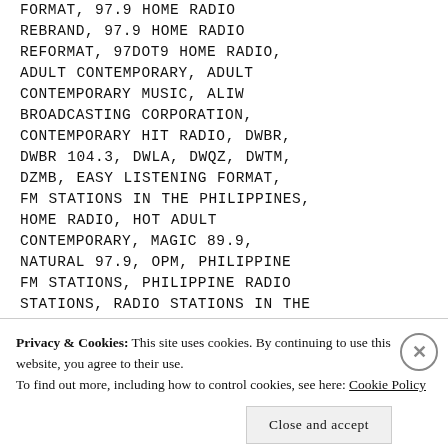FORMAT, 97.9 HOME RADIO REBRAND, 97.9 HOME RADIO REFORMAT, 97DOT9 HOME RADIO, ADULT CONTEMPORARY, ADULT CONTEMPORARY MUSIC, ALIW BROADCASTING CORPORATION, CONTEMPORARY HIT RADIO, DWBR, DWBR 104.3, DWLA, DWQZ, DWTM, DZMB, EASY LISTENING FORMAT, FM STATIONS IN THE PHILIPPINES, HOME RADIO, HOT ADULT CONTEMPORARY, MAGIC 89.9, NATURAL 97.9, OPM, PHILIPPINE FM STATIONS, PHILIPPINE RADIO STATIONS, RADIO STATIONS IN THE PHILIPPINES, RETRO 105.9, RETRO 105.9 DCG-FM, TOP 40, TOP 40 RADIO | 35 COMMENTS
Privacy & Cookies: This site uses cookies. By continuing to use this website, you agree to their use. To find out more, including how to control cookies, see here: Cookie Policy
Close and accept